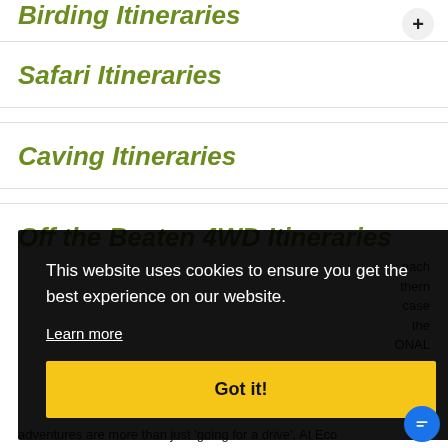Birding Itineraries
Safari Itineraries
Caving Itineraries
Off the Beaten 4WD Itineraries
...each ...thern ...case the ...ONAL
[Figure (screenshot): Cookie consent banner overlay with text: 'This website uses cookies to ensure you get the best experience on our website.' with a 'Learn more' link and 'Got it!' button]
adventures are more than just 'going for a drive'. At Eco